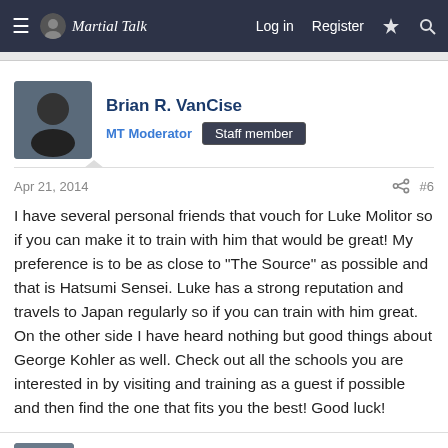Martial Talk — Log in  Register
Brian R. VanCise
MT Moderator  Staff member
Apr 21, 2014  #6
I have several personal friends that vouch for Luke Molitor so if you can make it to train with him that would be great! My preference is to be as close to "The Source" as possible and that is Hatsumi Sensei. Luke has a strong reputation and travels to Japan regularly so if you can train with him great. On the other side I have heard nothing but good things about George Kohler as well. Check out all the schools you are interested in by visiting and training as a guest if possible and then find the one that fits you the best! Good luck!
Chris Parker